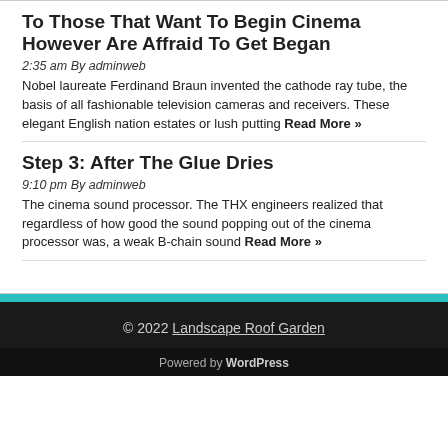To Those That Want To Begin Cinema However Are Affraid To Get Began
2:35 am By adminweb
Nobel laureate Ferdinand Braun invented the cathode ray tube, the basis of all fashionable television cameras and receivers. These elegant English nation estates or lush putting Read More »
Step 3: After The Glue Dries
9:10 pm By adminweb
The cinema sound processor. The THX engineers realized that regardless of how good the sound popping out of the cinema processor was, a weak B-chain sound Read More »
© 2022 Landscape Roof Garden
Powered by WordPress